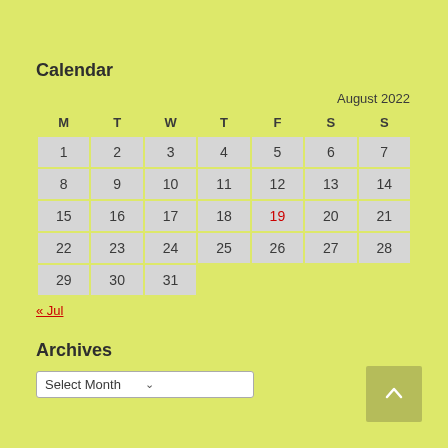Calendar
| M | T | W | T | F | S | S |
| --- | --- | --- | --- | --- | --- | --- |
| 1 | 2 | 3 | 4 | 5 | 6 | 7 |
| 8 | 9 | 10 | 11 | 12 | 13 | 14 |
| 15 | 16 | 17 | 18 | 19 | 20 | 21 |
| 22 | 23 | 24 | 25 | 26 | 27 | 28 |
| 29 | 30 | 31 |  |  |  |  |
« Jul
Archives
Select Month